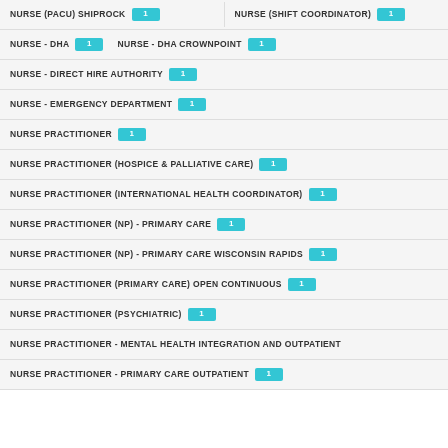NURSE (PACU) SHIPROCK (1)  NURSE (SHIFT COORDINATOR) (1)
NURSE - DHA (1)  NURSE - DHA CROWNPOINT (1)
NURSE - DIRECT HIRE AUTHORITY (1)
NURSE - EMERGENCY DEPARTMENT (1)
NURSE PRACTITIONER (1)
NURSE PRACTITIONER (HOSPICE & PALLIATIVE CARE) (1)
NURSE PRACTITIONER (INTERNATIONAL HEALTH COORDINATOR) (1)
NURSE PRACTITIONER (NP) - PRIMARY CARE (1)
NURSE PRACTITIONER (NP) - PRIMARY CARE WISCONSIN RAPIDS (1)
NURSE PRACTITIONER (PRIMARY CARE) OPEN CONTINUOUS (1)
NURSE PRACTITIONER (PSYCHIATRIC) (1)
NURSE PRACTITIONER - MENTAL HEALTH INTEGRATION AND OUTPATIENT
NURSE PRACTITIONER - PRIMARY CARE OUTPATIENT (1)